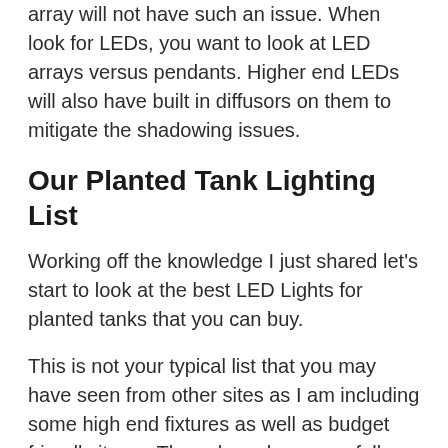array will not have such an issue. When look for LEDs, you want to look at LED arrays versus pendants. Higher end LEDs will also have built in diffusors on them to mitigate the shadowing issues.
Our Planted Tank Lighting List
Working off the knowledge I just shared let’s start to look at the best LED Lights for planted tanks that you can buy.
This is not your typical list that you may have seen from other sites as I am including some high end fixtures as well as budget friendly items. These have been carefully selected with